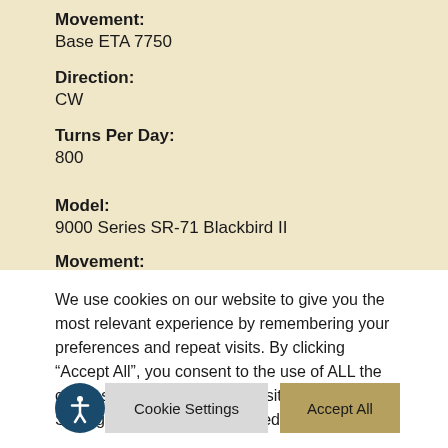Movement:
Base ETA 7750
Direction:
CW
Turns Per Day:
800
Model:
9000 Series SR-71 Blackbird II
Movement:
We use cookies on our website to give you the most relevant experience by remembering your preferences and repeat visits. By clicking “Accept All”, you consent to the use of ALL the cookies. However, you may visit “Cookie Settings” to provide a controlled consent.